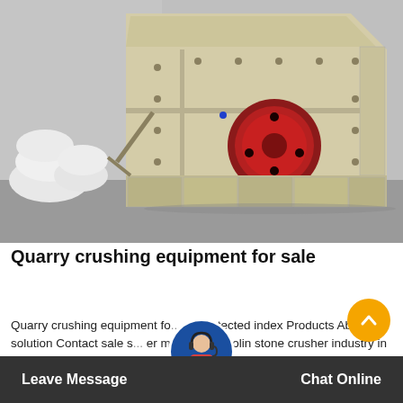[Figure (photo): Large industrial impact crusher / quarry crushing machine in beige/cream color with red circular drive wheel/flywheel, sitting on a concrete floor inside an industrial warehouse. White bags/sacks visible on the left side.]
Quarry crushing equipment for sale
Quarry crushing equipment fo... ail protected index Products About solution Contact sale s... er machi... in kaolin stone crusher industry in malaysia small rock crushers for sale kenya
Leave Message   Chat Online